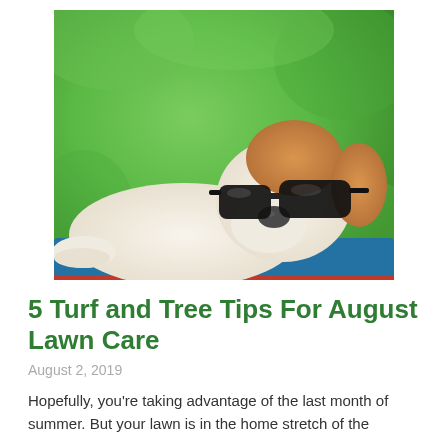[Figure (photo): A dog wearing sunglasses, relaxing in a red hammock with a blue mat, on a green grassy background.]
5 Turf and Tree Tips For August Lawn Care
August 2, 2019
Hopefully, you're taking advantage of the last month of summer. But your lawn is in the home stretch of the season, and it needs some attention.